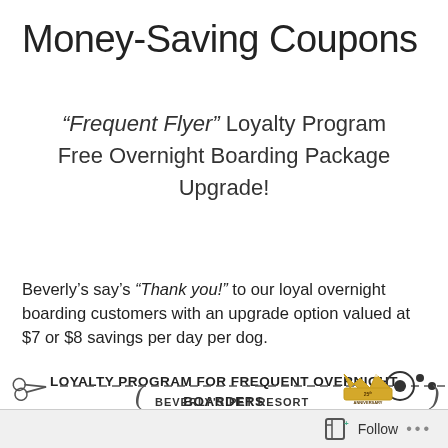Money-Saving Coupons
“Frequent Flyer” Loyalty Program Free Overnight Boarding Package Upgrade!
Beverly’s say’s “Thank you!” to our loyal overnight boarding customers with an upgrade option valued at $7 or $8 savings per day per dog.
LOYALTY PROGRAM FOR FREQUENT OVERNIGHT BOARDERS
[Figure (other): Scissors cutting dashed line coupon border with Beverly's Pet Resort logo and 25th Anniversary crown badge]
Follow ...